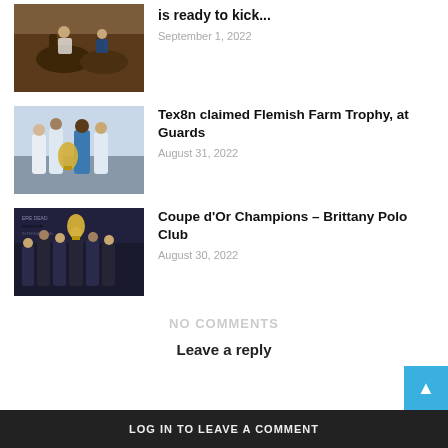[Figure (photo): Polo players on horseback during a match]
is ready to kick...
September 1, 2022
[Figure (photo): Team photo with trophy, Tex8n players in white uniforms]
Tex8n claimed Flemish Farm Trophy, at Guards
August 31, 2022
[Figure (photo): Team celebrating with Coupe d'Or trophy, dark uniforms]
Coupe d’Or Champions – Brittany Polo Club
August 30, 2022
NO COMMENTS
Leave a reply
LOG IN TO LEAVE A COMMENT